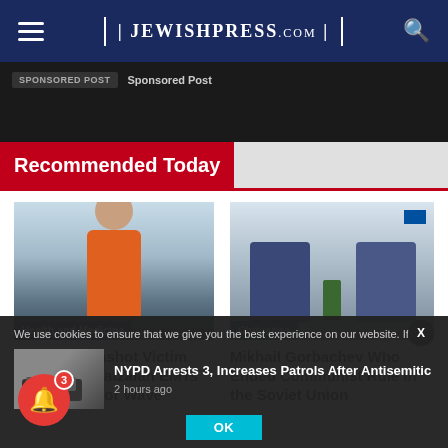JewishPress.com
Sponsored Post
Recommended Today
[Figure (photo): Person in orange safety vest standing in snowy landscape with category label 'Health and Medicine']
Sakhnin Gunshot Victim Treated by Hatzalah EMTs as Arab Sector Wave
[Figure (photo): Two men in suits shaking hands in an office setting with flag in background, category label 'Obituaries']
Mikhail Gorbachev Who Ended Communist Rule in the Soviet Union
We use cookies to ensure that we give you the best experience on our website. If yo
NYPD Arrests 3, Increases Patrols After Antisemitic
2 hours ago